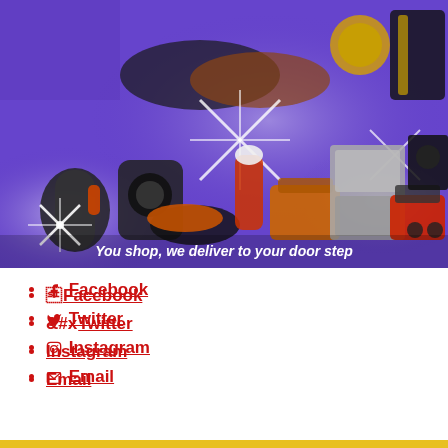[Figure (photo): E-commerce advertisement banner with purple background showing fashion items (clothing, shoes, watches, belts) at top and home appliances (kettle, air fryer, iron, cooker, refrigerator, generator, speaker) at bottom, with sparkle effects and text 'You shop, we deliver to your door step']
Facebook
Twitter
Instagram
Email